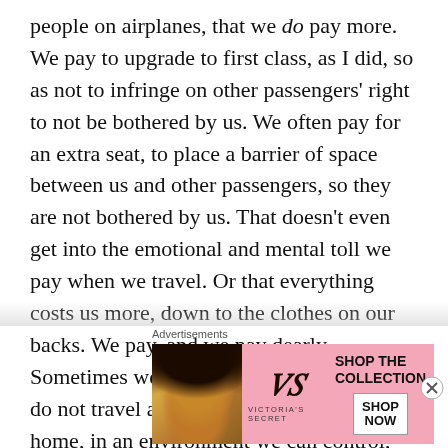people on airplanes, that we do pay more. We pay to upgrade to first class, as I did, so as not to infringe on other passengers' right to not be bothered by us. We often pay for an extra seat, to place a barrier of space between us and other passengers, so they are not bothered by us. That doesn't even get into the emotional and mental toll we pay when we travel. Or that everything costs us more, down to the clothes on our backs. We pay, and we pay dearly. Sometimes we cannot bear the cost, so we do not travel at all, instead opting to stay home, in an environment we can control, free from the prying eyes of strangers
[Figure (other): Victoria's Secret advertisement banner with model photo, VS logo, 'SHOP THE COLLECTION' text, and 'SHOP NOW' button on pink background]